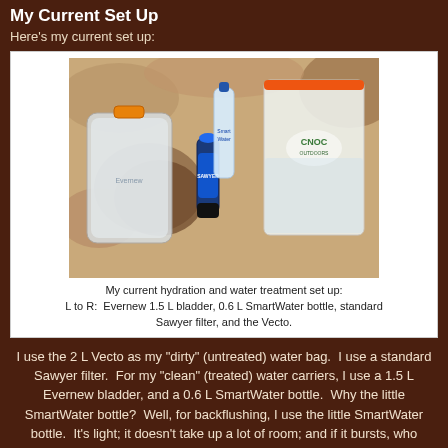My Current Set Up
Here's my current set up:
[Figure (photo): Photo of hydration and water treatment setup on sandy/rocky ground. Shows Evernew 1.5 L bladder (left), 0.6 L SmartWater bottle (center-back), standard Sawyer filter (center), and the Vecto bag (right, with CNOC logo and orange zipper top).]
My current hydration and water treatment set up:
L to R:  Evernew 1.5 L bladder, 0.6 L SmartWater bottle, standard Sawyer filter, and the Vecto.
I use the 2 L Vecto as my "dirty" (untreated) water bag.  I use a standard Sawyer filter.  For my "clean" (treated) water carriers, I use a 1.5 L Evernew bladder, and a 0.6 L SmartWater bottle.  Why the little SmartWater bottle?  Well, for backflushing, I use the little SmartWater bottle.  It's light; it doesn't take up a lot of room; and if it bursts, who cares?  I'll just get another one.  The combination of the Evernew